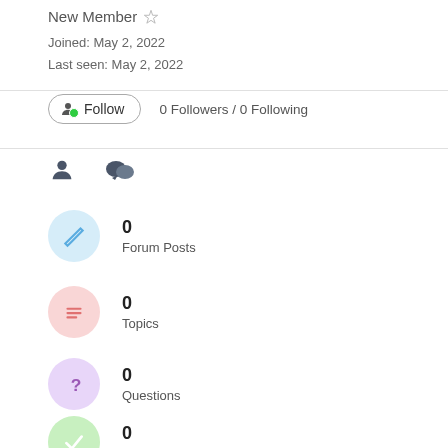New Member
Joined: May 2, 2022
Last seen: May 2, 2022
Follow   0 Followers / 0 Following
[Figure (other): Tab icons: person icon and chat bubble icon]
0
Forum Posts
0
Topics
0
Questions
0
Answers